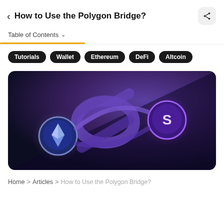How to Use the Polygon Bridge?
Table of Contents
Tutorials
Wallet
Ethereum
DeFi
Altcoin
[Figure (illustration): Hero illustration showing a glowing chain link connecting an Ethereum coin (blue/white diamond logo) on the left and a purple S-coin on the right, set against a dark purple and navy gradient background. Represents the Polygon Bridge connecting Ethereum and Polygon networks.]
Home > Articles > How to Use the Polygon Bridge?